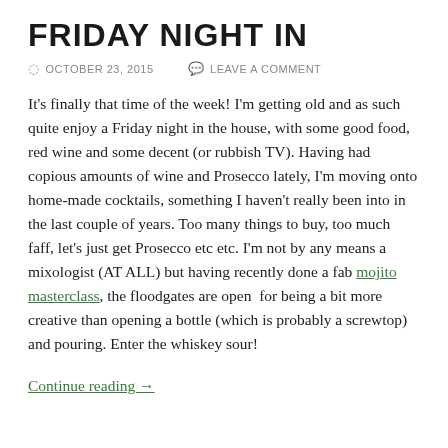FRIDAY NIGHT IN
OCTOBER 23, 2015   LEAVE A COMMENT
It's finally that time of the week! I'm getting old and as such quite enjoy a Friday night in the house, with some good food, red wine and some decent (or rubbish TV). Having had copious amounts of wine and Prosecco lately, I'm moving onto home-made cocktails, something I haven't really been into in the last couple of years. Too many things to buy, too much faff, let's just get Prosecco etc etc. I'm not by any means a mixologist (AT ALL) but having recently done a fab mojito masterclass, the floodgates are open  for being a bit more creative than opening a bottle (which is probably a screwtop) and pouring. Enter the whiskey sour!
Continue reading →